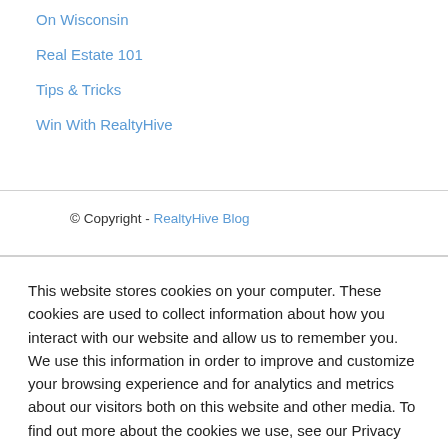On Wisconsin
Real Estate 101
Tips & Tricks
Win With RealtyHive
© Copyright - RealtyHive Blog
This website stores cookies on your computer. These cookies are used to collect information about how you interact with our website and allow us to remember you. We use this information in order to improve and customize your browsing experience and for analytics and metrics about our visitors both on this website and other media. To find out more about the cookies we use, see our Privacy Policy.
Accept